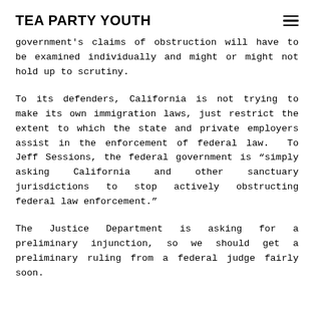TEA PARTY YOUTH
government's claims of obstruction will have to be examined individually and might or might not hold up to scrutiny.
To its defenders, California is not trying to make its own immigration laws, just restrict the extent to which the state and private employers assist in the enforcement of federal law. To Jeff Sessions, the federal government is “simply asking California and other sanctuary jurisdictions to stop actively obstructing federal law enforcement.”
The Justice Department is asking for a preliminary injunction, so we should get a preliminary ruling from a federal judge fairly soon.